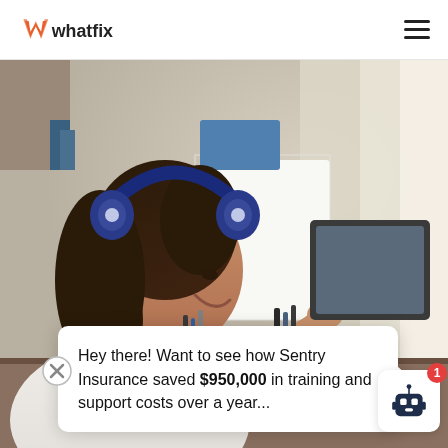whatfix [logo] [hamburger menu]
[Figure (photo): Woman with dark curly hair wearing blue headphones, smiling while working at a desk with a laptop, pencil cup, and items in the background. Photo is taken from the side profile.]
Hey there! Want to see how Sentry Insurance saved $950,000 in training and support costs over a year...